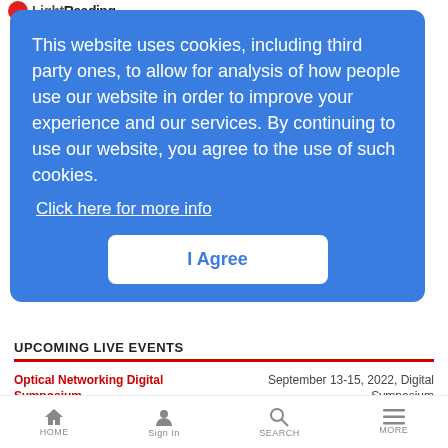LightReading
This website uses cookies, including third party ones, to allow for analysis of how people use our website in order to improve your experience and our services. By continuing to use our website, you agree to the use of such cookies.
Click here for more info
I Agree
UPCOMING LIVE EVENTS
Optical Networking Digital Symposium | September 13-15, 2022, Digital Symposium
Leading Lights 2022 | September 13, 2022,
Edge Computing Digital Symposium | September 20-22, 2022, Digital Symposium
HOME | Sign In | SEARCH | MORE